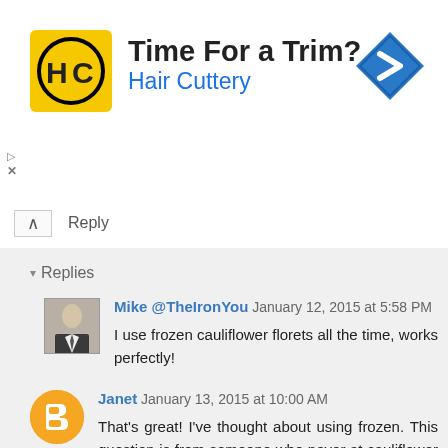[Figure (other): Hair Cuttery advertisement banner with HC logo, 'Time For a Trim?' headline, 'Hair Cuttery' subtitle in blue, and a blue navigation arrow icon on the right]
Reply
▾ Replies
Mike @TheIronYou January 12, 2015 at 5:58 PM
I use frozen cauliflower florets all the time, works perfectly!
Janet January 13, 2015 at 10:00 AM
That's great! I've thought about using frozen. This question is from someone who never at cauliflower before cauliflower crust